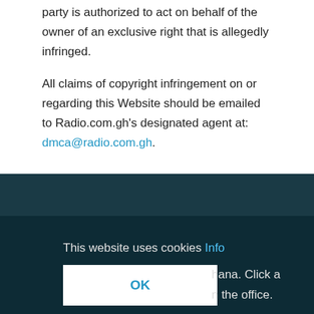party is authorized to act on behalf of the owner of an exclusive right that is allegedly infringed.
All claims of copyright infringement on or regarding this Website should be emailed to Radio.com.gh's designated agent at: dmca@radio.com.gh.
This website uses cookies Info
OK
hana. Click a n the office.